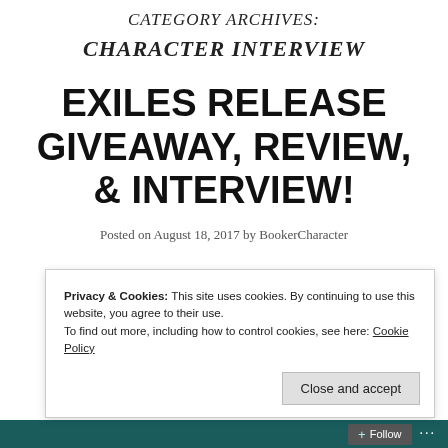CATEGORY ARCHIVES:
CHARACTER INTERVIEW
EXILES RELEASE GIVEAWAY, REVIEW, & INTERVIEW!
Posted on August 18, 2017 by BookerCharacter
Privacy & Cookies: This site uses cookies. By continuing to use this website, you agree to their use.
To find out more, including how to control cookies, see here: Cookie Policy
Close and accept